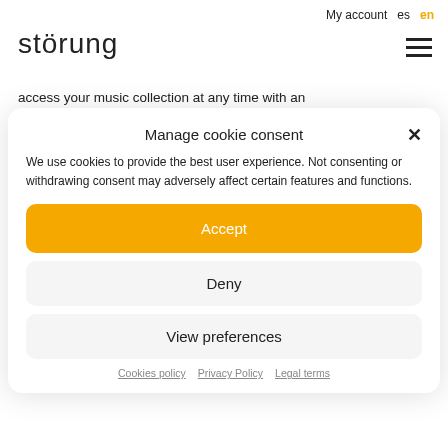My account   es   en
störung
access your music collection at any time with an unprecedented sound quality.
Manage cookie consent
We use cookies to provide the best user experience. Not consenting or withdrawing consent may adversely affect certain features and functions.
Accept
Deny
View preferences
Cookies policy   Privacy Policy   Legal terms